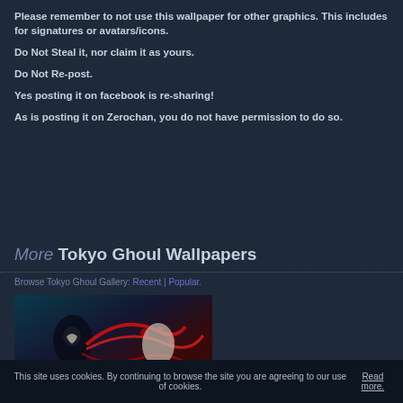Please remember to not use this wallpaper for other graphics. This includes for signatures or avatars/icons.
Do Not Steal it, nor claim it as yours.
Do Not Re-post.
Yes posting it on facebook is re-sharing!
As is posting it on Zerochan, you do not have permission to do so.
More Tokyo Ghoul Wallpapers
Browse Tokyo Ghoul Gallery: Recent | Popular.
[Figure (illustration): Thumbnail of a Tokyo Ghoul anime wallpaper showing dark fantasy art with anime characters]
This site uses cookies. By continuing to browse the site you are agreeing to our use of cookies. Read more.